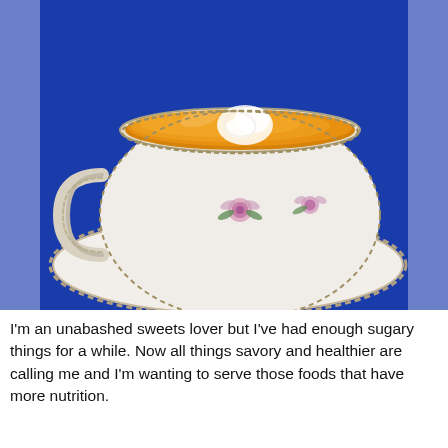[Figure (photo): A white porcelain teacup and saucer decorated with pink roses and gold trim, filled with orange-yellow soup topped with a swirl of cream, set against a cobalt blue background.]
I'm an unabashed sweets lover but I've had enough sugary things for a while. Now all things savory and healthier are calling me and I'm wanting to serve those foods that have more nutrition.